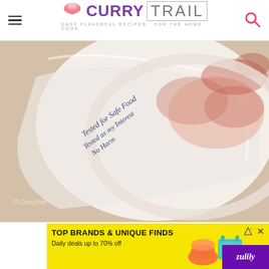[Figure (logo): Curry Trail website logo with pink bowl icon, purple CURRY text and grey outlined TRAIL text, tagline: EASY FLAVORFUL RECIPES FOR THE HOME COOK]
[Figure (photo): Close-up photo of raw chicken in a plastic zip-lock bag on a light surface. Label on the bag reads: Tested for Safe Food, Tested as my Interest, No Harm. Watermark: © Currytrail]
8,827
[Figure (infographic): White circle button with purple heart icon (save/favorite button)]
[Figure (infographic): Purple circle button with white magnifying glass icon (search/zoom button)]
[Figure (screenshot): Yellow advertisement banner: TOP BRANDS & UNIQUE FINDS. Daily deals up to 70% off. Zulily brand. Shows product images of shoes, bag.]